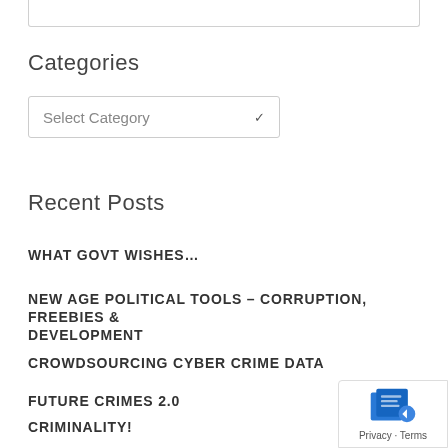Categories
Select Category
Recent Posts
WHAT GOVT WISHES…
NEW AGE POLITICAL TOOLS – CORRUPTION, FREEBIES & DEVELOPMENT
CROWDSOURCING CYBER CRIME DATA
FUTURE CRIMES 2.0
CRIMINALITY!
[Figure (other): Google privacy/terms badge with blue icon and scroll-to-top button]